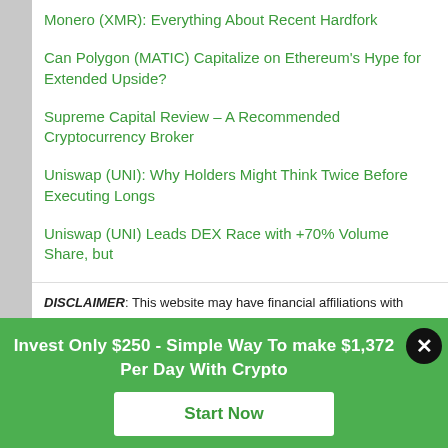Monero (XMR): Everything About Recent Hardfork
Can Polygon (MATIC) Capitalize on Ethereum's Hype for Extended Upside?
Supreme Capital Review – A Recommended Cryptocurrency Broker
Uniswap (UNI): Why Holders Might Think Twice Before Executing Longs
Uniswap (UNI) Leads DEX Race with +70% Volume Share, but
DISCLAIMER: This website may have financial affiliations with some (not all) of the brands and companies mentioned on this website. The content you
Invest Only $250 - Simple Way To make $1,372 Per Day With Crypto
Start Now